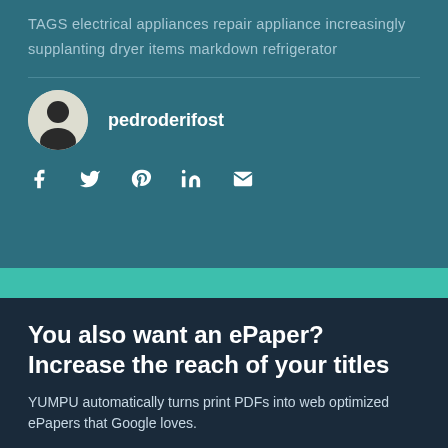TAGS electrical appliances repair appliance increasingly supplanting dryer items markdown refrigerator
pedroderifost
[Figure (illustration): Author avatar: circular silhouette of a person with dark hair on light grey background]
[Figure (infographic): Social share icons: Facebook, Twitter, Pinterest, LinkedIn, Email — white icons on teal background]
You also want an ePaper? Increase the reach of your titles
YUMPU automatically turns print PDFs into web optimized ePapers that Google loves.
START NOW